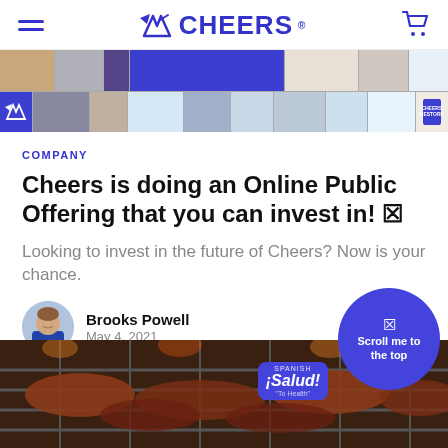CHEERS
[Figure (photo): Two-row strip of photos showing people, drinks, and Cheers branded products and settings]
COMPANY
Cheers is doing an Online Public Offering that you can invest in! 🎉
Looking to invest in the future of Cheers? Now is your chance.
Brooks Powell
May 4, 2021
[Figure (photo): Bottom photo showing grilled meat on a barbecue grill]
[Figure (infographic): Scroll me to the top button bubble in purple, with Spanish salud badge]